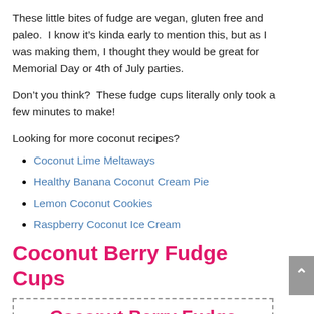These little bites of fudge are vegan, gluten free and paleo.  I know it’s kinda early to mention this, but as I was making them, I thought they would be great for Memorial Day or 4th of July parties.
Don’t you think?  These fudge cups literally only took a few minutes to make!
Looking for more coconut recipes?
Coconut Lime Meltaways
Healthy Banana Coconut Cream Pie
Lemon Coconut Cookies
Raspberry Coconut Ice Cream
Coconut Berry Fudge Cups
Coconut Berry Fudge